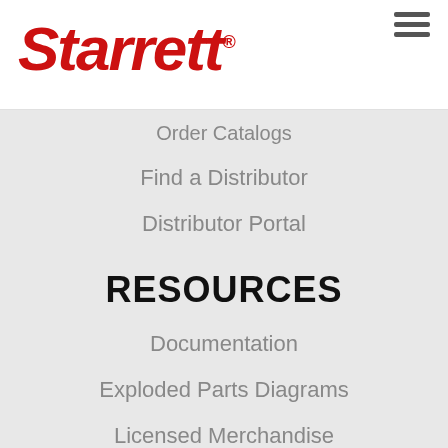[Figure (logo): Starrett logo in red italic bold text with registered trademark symbol]
Order Catalogs
Find a Distributor
Distributor Portal
RESOURCES
Documentation
Exploded Parts Diagrams
Licensed Merchandise
Software